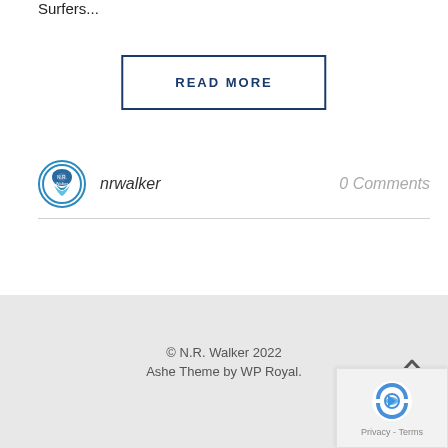Surfers...
READ MORE
nrwalker
0 Comments
© N.R. Walker 2022
Ashe Theme by WP Royal.